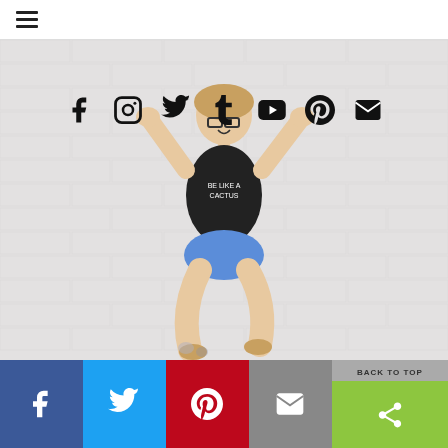Hamburger menu icon
[Figure (infographic): Row of social media icons: Facebook (f), Instagram (camera), Twitter (bird), Tumblr (t), YouTube (play), Pinterest (p), Email (envelope)]
[Figure (photo): Woman with glasses jumping joyfully in front of a white brick wall, wearing a black sleeveless shirt and denim shorts]
BACK TO TOP | Share buttons: Facebook, Twitter, Pinterest, Email, Share